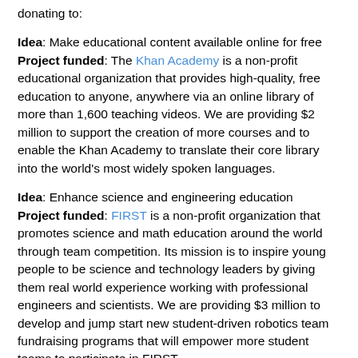donating to:
Idea: Make educational content available online for free
Project funded: The Khan Academy is a non-profit educational organization that provides high-quality, free education to anyone, anywhere via an online library of more than 1,600 teaching videos. We are providing $2 million to support the creation of more courses and to enable the Khan Academy to translate their core library into the world's most widely spoken languages.
Idea: Enhance science and engineering education
Project funded: FIRST is a non-profit organization that promotes science and math education around the world through team competition. Its mission is to inspire young people to be science and technology leaders by giving them real world experience working with professional engineers and scientists. We are providing $3 million to develop and jump start new student-driven robotics team fundraising programs that will empower more student teams to participate in FIRST.